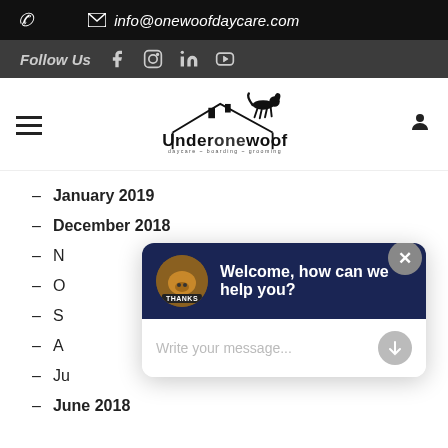📞  ✉ info@onewoofdaycare.com
Follow Us  [Facebook] [Instagram] [LinkedIn] [YouTube]
[Figure (logo): Under One Woof logo with dog silhouette on roofline. Subtitle: daycare ~ boarding ~ grooming]
January 2019
December 2018
November 2018
October 2018
September 2018
August 2018
July 2018
June 2018
[Figure (screenshot): Chat widget popup with dog avatar, header 'Welcome, how can we help you?' on dark navy background, and input field 'Write your message...']